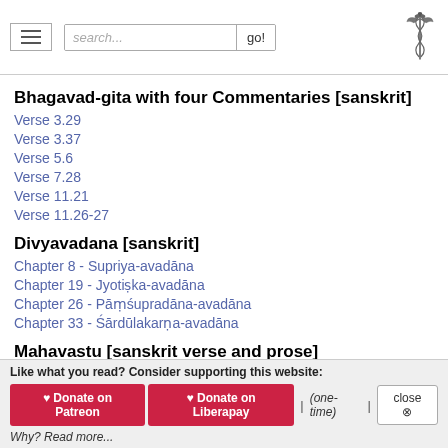Navigation header with hamburger menu, search bar, and caduceus logo
Bhagavad-gita with four Commentaries [sanskrit]
Verse 3.29
Verse 3.37
Verse 5.6
Verse 7.28
Verse 11.21
Verse 11.26-27
Divyavadana [sanskrit]
Chapter 8 - Supriya-avadāna
Chapter 19 - Jyotiṣka-avadāna
Chapter 26 - Pāṃśupradāna-avadāna
Chapter 33 - Śārdūlakarṇa-avadāna
Mahavastu [sanskrit verse and prose]
Section 1.31
Section 2.240
Like what you read? Consider supporting this website: ♥ Donate on Patreon  ♥ Donate on Liberapay  | (one-time) |  close ⊗  Why? Read more...